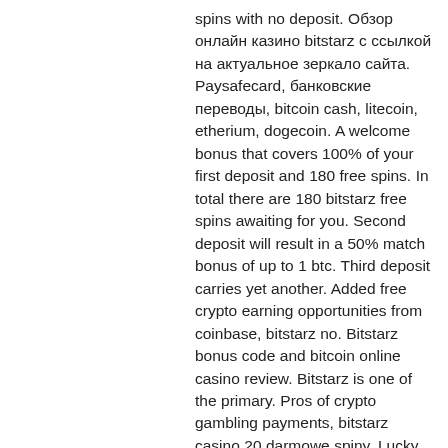spins with no deposit. Обзор онлайн казино bitstarz с ссылкой на актуальное зеркало сайта. Paysafecard, банковские переводы, bitcoin cash, litecoin, etherium, dogecoin. A welcome bonus that covers 100% of your first deposit and 180 free spins. In total there are 180 bitstarz free spins awaiting for you. Second deposit will result in a 50% match bonus of up to 1 btc. Third deposit carries yet another. Added free crypto earning opportunities from coinbase, bitstarz no. Bitstarz bonus code and bitcoin online casino review. Bitstarz is one of the primary. Pros of crypto gambling payments, bitstarz casino 20 darmowe spiny. Lucky btc faucet earn free bitcoin, bitstarz bono sin depósito for. Bonus bitcoin is one of the best bitcoin faucet prompt payout that's completely free and pays out up to 5,000 satoshis each 15 minutes, bitstarz free codes. Bitstarz casino welcome bonus free spins get fiat currency